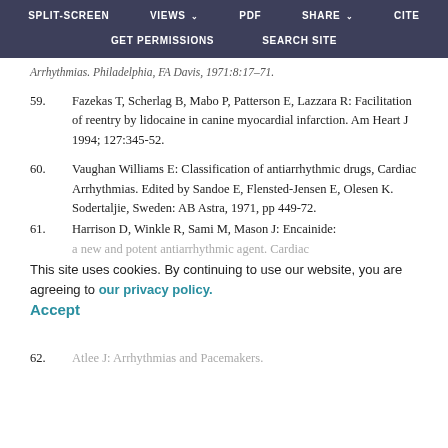SPLIT-SCREEN  VIEWS  PDF  SHARE  CITE  GET PERMISSIONS  SEARCH SITE
Arrhythmias. Philadelphia, FA Davis, 1971:8:17-71.
59.    Fazekas T, Scherlag B, Mabo P, Patterson E, Lazzara R: Facilitation of reentry by lidocaine in canine myocardial infarction. Am Heart J 1994; 127:345-52.
60.    Vaughan Williams E: Classification of antiarrhythmic drugs, Cardiac Arrhythmias. Edited by Sandoe E, Flensted-Jensen E, Olesen K. Sodertaljie, Sweden: AB Astra, 1971, pp 449-72.
61.    Harrison D, Winkle R, Sami M, Mason J: Encainide: a new and potent antiarrhythmic agent. Cardiac
This site uses cookies. By continuing to use our website, you are agreeing to our privacy policy. Accept
62.    Atlee J: Arrhythmias and Pacemakers.